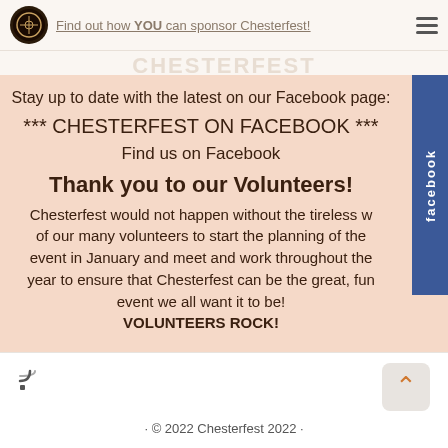Find out how YOU can sponsor Chesterfest!
Stay up to date with the latest on our Facebook page:
*** CHESTERFEST ON FACEBOOK ***
Find us on Facebook
Thank you to our Volunteers!
Chesterfest would not happen without the tireless work of our many volunteers to start the planning of the event in January and meet and work throughout the year to ensure that Chesterfest can be the great, fun event we all want it to be! VOLUNTEERS ROCK!
· © 2022 Chesterfest 2022 ·